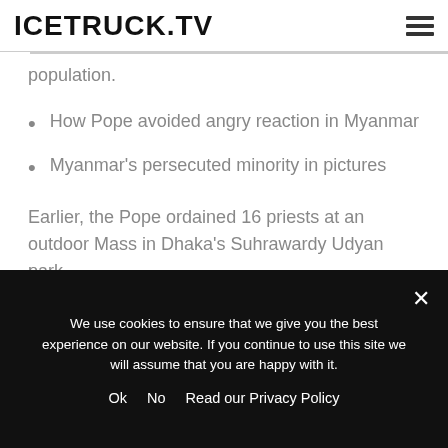ICETRUCK.TV
population.
How Pope avoided angry reaction in Myanmar
Myanmar's persecuted minority in pictures
Earlier, the Pope ordained 16 priests at an outdoor Mass in Dhaka's Suhrawardy Udyan park.
On the penultimate day of his Asia trip, he told the crowd: "I know that many of you came from afar, for a
We use cookies to ensure that we give you the best experience on our website. If you continue to use this site we will assume that you are happy with it.
Ok   No   Read our Privacy Policy